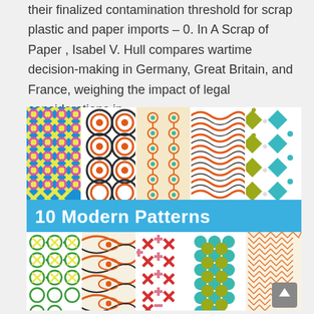their finalized contamination threshold for scrap plastic and paper imports – 0. In A Scrap of Paper, Isabel V. Hull compares wartime decision-making in Germany, Great Britain, and France, weighing the impact of legal considerations in .
[Figure (illustration): A decorative image showing a 2x5 grid of modern repeating patterns labeled '10 Modern Patterns'. Top row shows: blue/yellow/pink cross-hatch pattern, dark/orange circle target pattern, cream/orange/teal chain-circle pattern, orange/dark wave pattern, white/olive/teal diamond pattern. Bottom row shows: white/green/yellow circle-X pattern, orange/dark wave eye pattern, white/red/pink X-plus pattern, teal/olive hexagon dot pattern, cream/orange herringbone stripe pattern.]